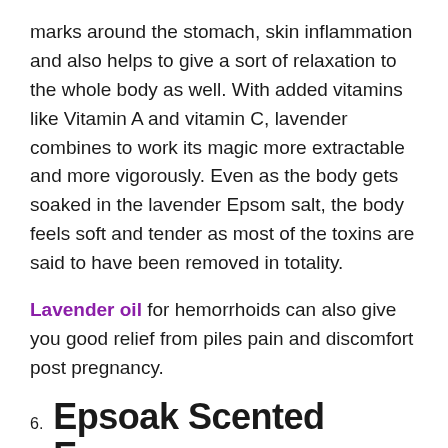marks around the stomach, skin inflammation and also helps to give a sort of relaxation to the whole body as well. With added vitamins like Vitamin A and vitamin C, lavender combines to work its magic more extractable and more vigorously. Even as the body gets soaked in the lavender Epsom salt, the body feels soft and tender as most of the toxins are said to have been removed in totality.
Lavender oil for hemorrhoids can also give you good relief from piles pain and discomfort post pregnancy.
6. Epsoak Scented Epsom